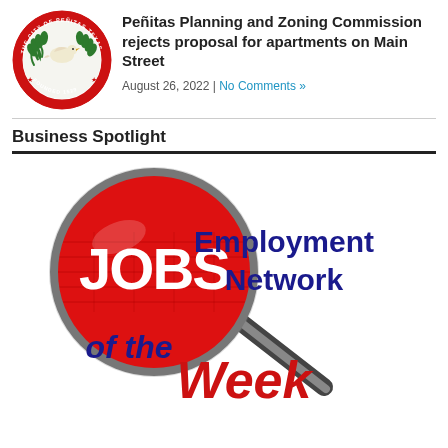[Figure (logo): City of Peñitas Texas seal — circular red border with dove and laurel branches, 'FOUNDED 1529']
Peñitas Planning and Zoning Commission rejects proposal for apartments on Main Street
August 26, 2022 | No Comments »
Business Spotlight
[Figure (logo): Jobs Employment Network of the Week graphic — magnifying glass with red lens, 'JOBS' text in white, 'Employment Network' in dark blue, 'of the Week' in dark blue and red]